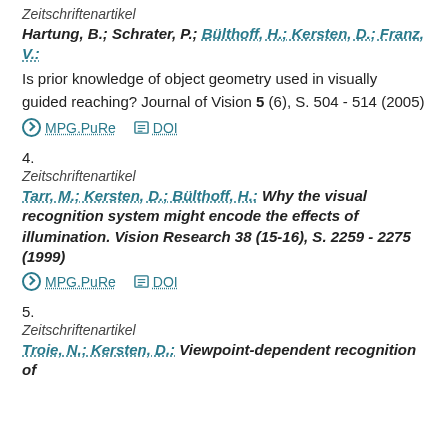Zeitschriftenartikel
Hartung, B.; Schrater, P.; Bülthoff, H.; Kersten, D.; Franz, V.: Is prior knowledge of object geometry used in visually guided reaching? Journal of Vision 5 (6), S. 504 - 514 (2005)
MPG.PuRe  DOI
4.
Zeitschriftenartikel
Tarr, M.; Kersten, D.; Bülthoff, H.: Why the visual recognition system might encode the effects of illumination. Vision Research 38 (15-16), S. 2259 - 2275 (1999)
MPG.PuRe  DOI
5.
Zeitschriftenartikel
Troie, N.; Kersten, D.: Viewpoint-dependent recognition of